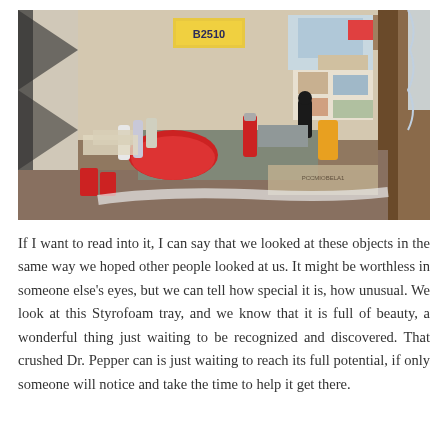[Figure (photo): Cluttered room interior with a desk or shelf covered in various objects: cans, bottles, papers, stickers, posters, and miscellaneous items. The walls are covered with colorful posters, stickers, and photos. A license plate reading 'B2510' is visible. Red items including what appears to be a guitar and cans are visible. The room has a chaotic, collected aesthetic.]
If I want to read into it, I can say that we looked at these objects in the same way we hoped other people looked at us. It might be worthless in someone else's eyes, but we can tell how special it is, how unusual. We look at this Styrofoam tray, and we know that it is full of beauty, a wonderful thing just waiting to be recognized and discovered. That crushed Dr. Pepper can is just waiting to reach its full potential, if only someone will notice and take the time to help it get there.